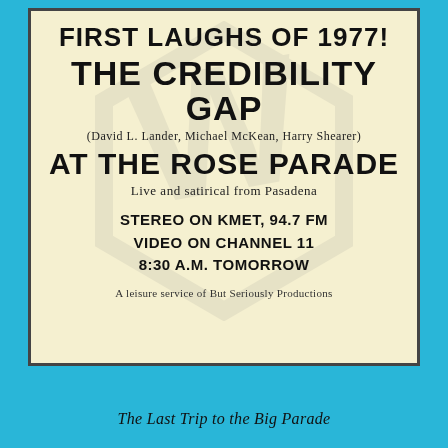FIRST LAUGHS OF 1977!
THE CREDIBILITY GAP
(David L. Lander, Michael McKean, Harry Shearer)
AT THE ROSE PARADE
Live and satirical from Pasadena
STEREO ON KMET, 94.7 FM
VIDEO ON CHANNEL 11
8:30 A.M. TOMORROW
A leisure service of But Seriously Productions
The Last Trip to the Big Parade